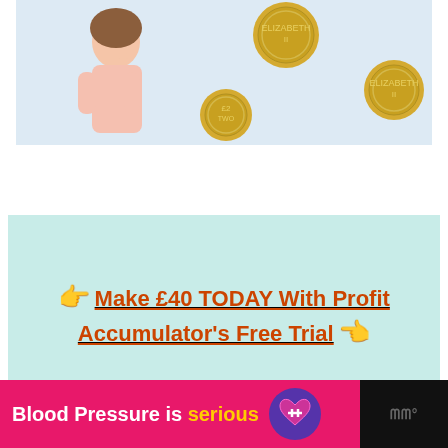[Figure (photo): Woman with finger to lips shushing gesture, surrounded by British pound coins on a light blue background]
👉 Make £40 TODAY With Profit Accumulator's Free Trial 👈
[Figure (infographic): Advertisement banner: 'Blood Pressure is serious' in white and yellow text on pink background with purple heart logo, black right section with stylized text]
[Figure (photo): White/blank content area placeholder]